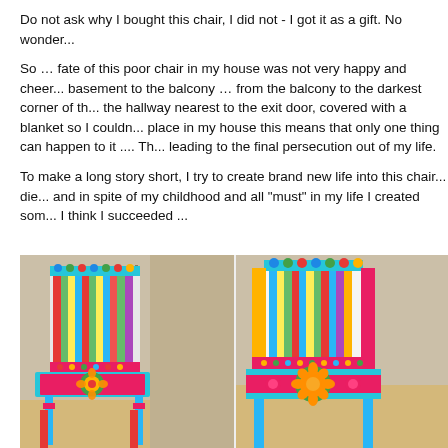Do not ask why I bought this chair, I did not - I got it as a gift. No wonder...
So … fate of this poor chair in my house was not very happy and cheer... basement to the balcony … from the balcony to the darkest corner of th... the hallway nearest to the exit door, covered with a blanket so I couldn... place in my house this means that only one thing can happen to it .... Th... leading to the final persecution out of my life.
To make a long story short, I try to create brand new life into this chair... die... and in spite of my childhood and all "must" in my life I created som... I think I succeeded ...
[Figure (photo): Two photos of a colorful crocheted chair cover on a wooden chair, shown from two angles. The cover features bright stripes of teal, green, yellow, red, and pink on the back, with a floral pattern (orange flower with green center) on the seat cushion.]